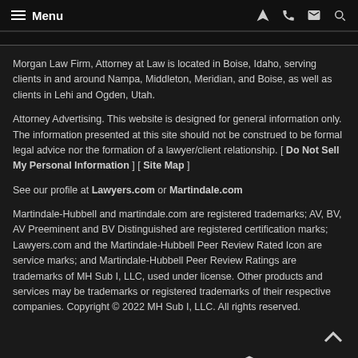Menu
Morgan Law Firm, Attorney at Law is located in Boise, Idaho, serving clients in and around Nampa, Middleton, Meridian, and Boise, as well as clients in Lehi and Ogden, Utah.
Attorney Advertising. This website is designed for general information only. The information presented at this site should not be construed to be formal legal advice nor the formation of a lawyer/client relationship. [ Do Not Sell My Personal Information ] [ Site Map ]
See our profile at Lawyers.com or Martindale.com
Martindale-Hubbell and martindale.com are registered trademarks; AV, BV, AV Preeminent and BV Distinguished are registered certification marks; Lawyers.com and the Martindale-Hubbell Peer Review Rated Icon are service marks; and Martindale-Hubbell Peer Review Ratings are trademarks of MH Sub I, LLC, used under license. Other products and services may be trademarks or registered trademarks of their respective companies. Copyright © 2022 MH Sub I, LLC. All rights reserved.
Martindale-Hubbell®